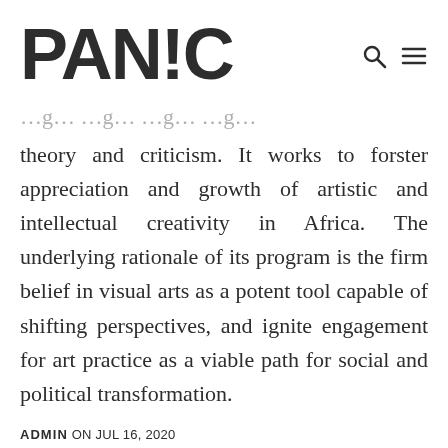PAN!C
theory and criticism. It works to forster appreciation and growth of artistic and intellectual creativity in Africa. The underlying rationale of its program is the firm belief in visual arts as a potent tool capable of shifting perspectives, and ignite engagement for art practice as a viable path for social and political transformation.
ADMIN ON JUL 16, 2020
Art Fairs, Exhibitions, Place: South Africa, Public Art, Research, Residencies, Talks and Discussions